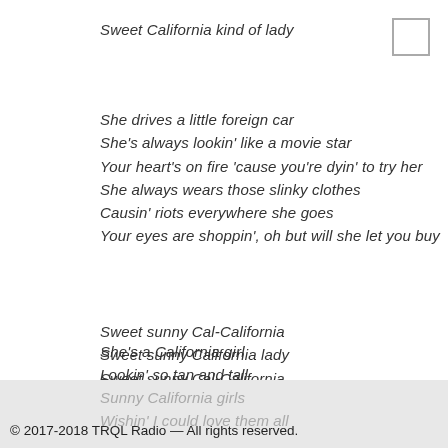Sweet California kind of lady
She drives a little foreign car
She's always lookin' like a movie star
Your heart's on fire 'cause you're dyin' to try her
She always wears those slinky clothes
Causin' riots everywhere she goes
Your eyes are shoppin', oh but will she let you buy
Sweet sunny Cal-California
Sweet sunny California lady
Sweet sunny Cal-California
Sweet California kind of lady
She's a California girl
Lookin' so tan and tall
Sunny California girls
Wishin' I could love them all
© 2017-2018 TRQL Radio — All rights reserved.